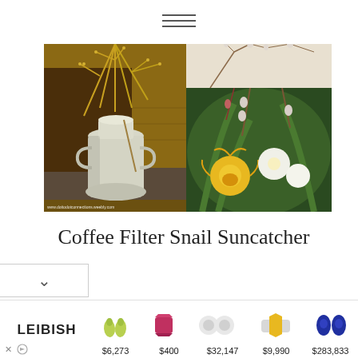[Figure (screenshot): Website screenshot showing a hamburger menu icon at top, two photos (left: milk can with dried branches/flowers on wooden furniture, right top: floral arrangement with white flowers, right bottom: yellow and white daffodils/flowers with pussy willow branches), a section title 'Coffee Filter Snail Suncatcher', a chevron/dropdown button, and an advertisement banner for LEIBISH jewelry showing gemstones (peridot drops $6,273, ruby emerald $400, diamond studs $32,147, yellow diamond ring $9,990, sapphire ovals $283,833)]